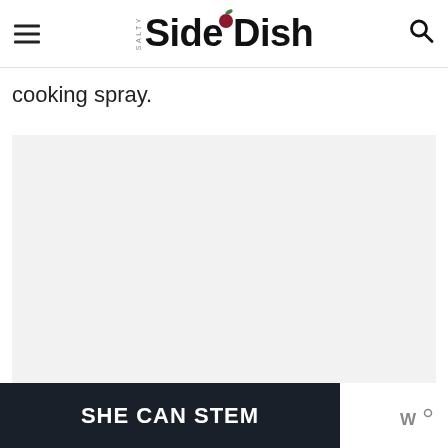Salty Side Dish
cooking spray.
[Figure (other): Advertisement placeholder — light grey empty box]
[Figure (other): SHE CAN STEM advertisement banner with dark background and Wunderman Thompson logo]